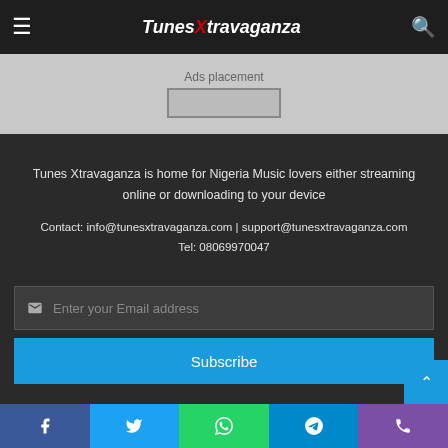Tunes Xtravaganza
[Figure (other): Ads placement banner with placeholder box]
Tunes Xtravaganza is home for Nigeria Music lovers either streaming online or downloading to your device
Contact: info@tunesxtravaganza.com | support@tunesxtravaganza.com
Tel: 08069970047
[Figure (other): Email subscription input field with envelope icon and placeholder text 'Enter your Email address']
[Figure (other): Subscribe button in blue]
Facebook | Twitter | WhatsApp | Telegram | Phone